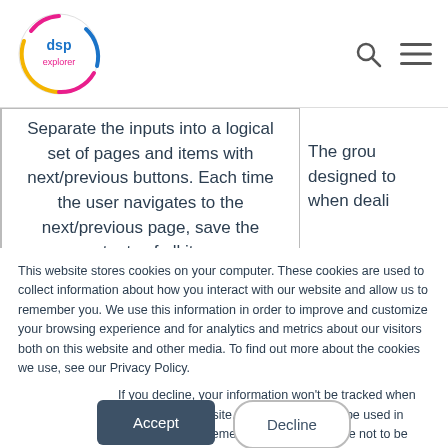[Figure (logo): DSP Explorer circular logo with colorful arcs in pink, yellow, and blue]
Separate the inputs into a logical set of pages and items with next/previous buttons. Each time the user navigates to the next/previous page, save the contents of all items
The grou designed to when deali
This website stores cookies on your computer. These cookies are used to collect information about how you interact with our website and allow us to remember you. We use this information in order to improve and customize your browsing experience and for analytics and metrics about our visitors both on this website and other media. To find out more about the cookies we use, see our Privacy Policy.
If you decline, your information won't be tracked when you visit this website. A single cookie will be used in your browser to remember your preference not to be tracked.